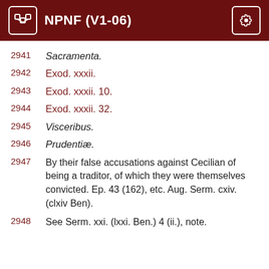NPNF (V1-06)
2941   Sacramenta.
2942   Exod. xxxii.
2943   Exod. xxxii. 10.
2944   Exod. xxxii. 32.
2945   Visceribus.
2946   Prudentiæ.
2947   By their false accusations against Cecilian of being a traditor, of which they were themselves convicted. Ep. 43 (162), etc. Aug. Serm. cxiv. (clxiv Ben).
2948   See Serm. xxi. (lxxi. Ben.) 4 (ii.), note.